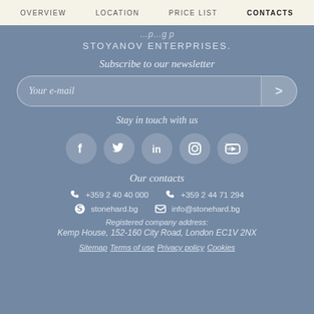OVERVIEW   LOCATION   PRICE LIST   CONTACTS
STOYANOV ENTERPRISES.
Subscribe to our newsletter
Your e-mail
Stay in touch with us
[Figure (infographic): Five social media icons in white circles: Facebook, Twitter, LinkedIn, Instagram, YouTube]
Our contacts
+359 2 40 40 000   +359 2 44 71 294
stonehard.bg   info@stonehard.bg
Registered company address:
Kemp House, 152-160 City Road, London EC1V 2NX
Sitemap  Terms of use  Privacy policy  Cookies